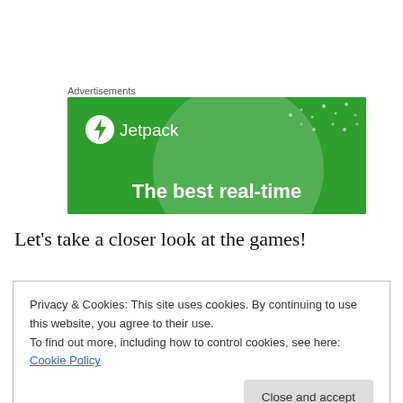Advertisements
[Figure (illustration): Jetpack advertisement banner with green background, large semi-transparent circle, white dot pattern, Jetpack logo (white circle with lightning bolt icon and 'Jetpack' text), and headline 'The best real-time']
Let's take a closer look at the games!
[Figure (photo): Partial view of a brown American football]
Privacy & Cookies: This site uses cookies. By continuing to use this website, you agree to their use.
To find out more, including how to control cookies, see here: Cookie Policy
Close and accept
Green Bay at Atlanta.